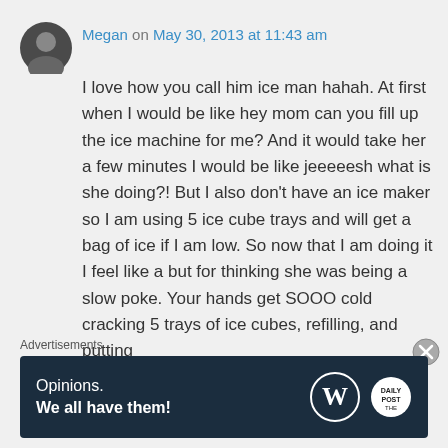Megan on May 30, 2013 at 11:43 am
I love how you call him ice man hahah. At first when I would be like hey mom can you fill up the ice machine for me? And it would take her a few minutes I would be like jeeeeesh what is she doing?! But I also don't have an ice maker so I am using 5 ice cube trays and will get a bag of ice if I am low. So now that I am doing it I feel like a but for thinking she was being a slow poke. Your hands get SOOO cold cracking 5 trays of ice cubes, refilling, and putting
Advertisements
[Figure (other): WordPress advertisement banner: 'Opinions. We all have them!' with WordPress (W) logo and another circular logo on dark navy background]